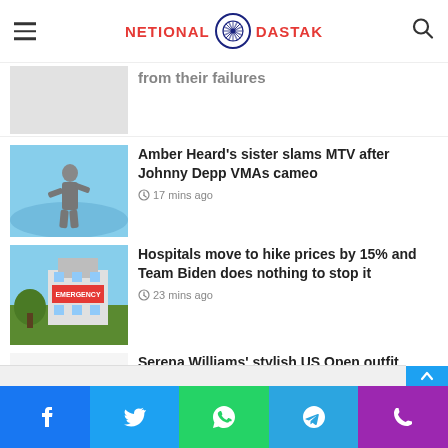NETIONAL DASTAK
from their failures
Amber Heard's sister slams MTV after Johnny Depp VMAs cameo
17 mins ago
Hospitals move to hike prices by 15% and Team Biden does nothing to stop it
23 mins ago
Serena Williams' stylish US Open outfit revealed ahead of her match
24 mins ago